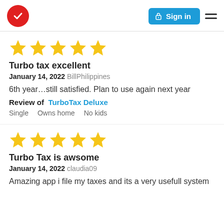TurboTax logo | Sign in | Menu
[Figure (other): Five gold star rating for review 1]
Turbo tax excellent
January 14, 2022 BillPhilippines
6th year…still satisfied. Plan to use again next year
Review of TurboTax Deluxe
Single   Owns home   No kids
[Figure (other): Five gold star rating for review 2]
Turbo Tax is awsome
January 14, 2022 claudia09
Amazing app i file my taxes and its a very usefull system